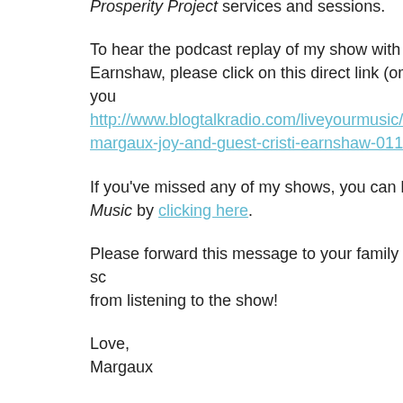Prosperity Project services and sessions.
To hear the podcast replay of my show with The Abundance Earnshaw, please click on this direct link (or paste it in you http://www.blogtalkradio.com/liveyourmusic/2016/01/13/liv margaux-joy-and-guest-cristi-earnshaw-011316
If you've missed any of my shows, you can listen to replay Music by clicking here.
Please forward this message to your family and friends so from listening to the show!
Love,
Margaux
PS: My book, The Art of Living a Life You Love, can help y and create a life you love. You can order a copy of it onlin Amazon.com or Barnes & Noble.